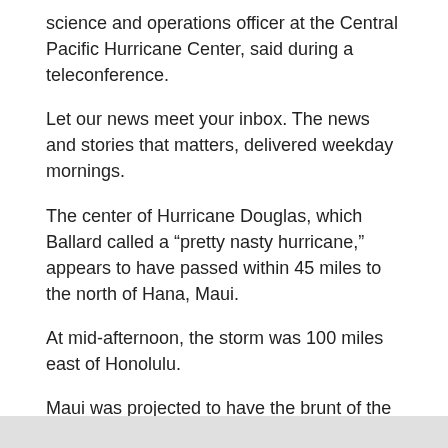science and operations officer at the Central Pacific Hurricane Center, said during a teleconference.
Let our news meet your inbox. The news and stories that matters, delivered weekday mornings.
The center of Hurricane Douglas, which Ballard called a “pretty nasty hurricane,” appears to have passed within 45 miles to the north of Hana, Maui.
At mid-afternoon, the storm was 100 miles east of Honolulu.
Maui was projected to have the brunt of the storm before Douglas moved on to Honolulu in the afternoon. Kauai would see the worst of the storm in the evening, possibly after dark.